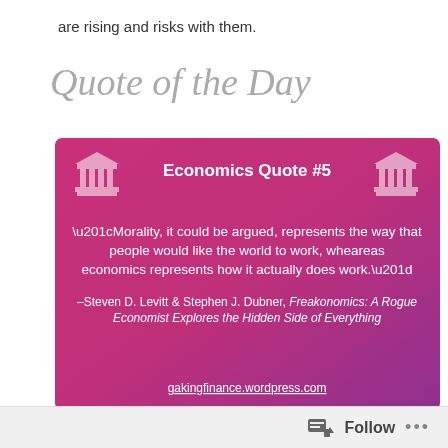are rising and risks with them.
Quote of the Day
[Figure (infographic): Pink/magenta gradient card titled 'Economics Quote #5' with two pillar (bank building) icons flanking the title. Contains a quote: “Morality, it could be argued, represents the way that people would like the world to work, wheareas economics represents how it actually does work.” attributed to Steven D. Levitt & Stephen J. Dubner, Freakonomics: A Rogue Economist Explores the Hidden Side of Everything. URL: gakingfinance.wordpress.com shown at bottom.]
Follow ...